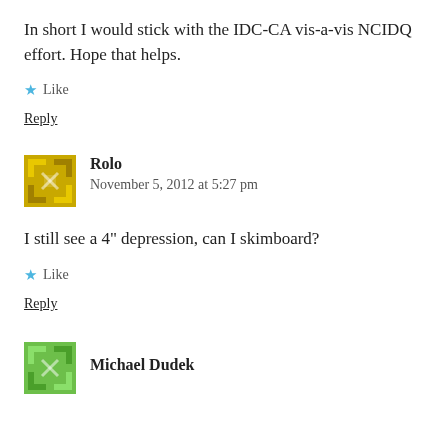In short I would stick with the IDC-CA vis-a-vis NCIDQ effort. Hope that helps.
★ Like
Reply
Rolo
November 5, 2012 at 5:27 pm
I still see a 4" depression, can I skimboard?
★ Like
Reply
Michael Dudek